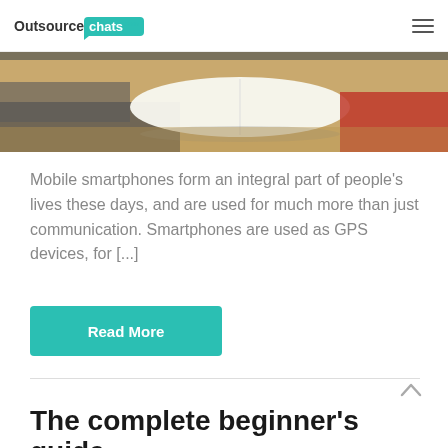OutsourceChats.com
[Figure (photo): Partial view of a desk with an open book and a red object, cropped at top]
Mobile smartphones form an integral part of people's lives these days, and are used for much more than just communication. Smartphones are used as GPS devices, for [...]
Read More
The complete beginner's guide